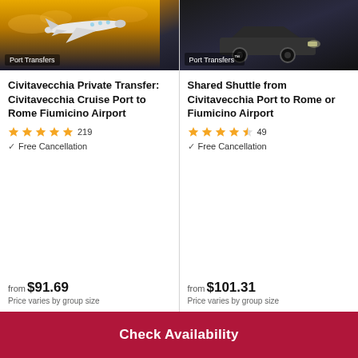[Figure (photo): Airplane flying through cloudy sky at sunset, Port Transfers badge overlay]
Civitavecchia Private Transfer: Civitavecchia Cruise Port to Rome Fiumicino Airport
★★★★★ 219
✓ Free Cancellation
from $91.69
Price varies by group size
[Figure (photo): Car/vehicle at night, Port Transfers badge overlay]
Shared Shuttle from Civitavecchia Port to Rome or Fiumicino Airport
★★★★½ 49
✓ Free Cancellation
from $101.31
Price varies by group size
Check Availability